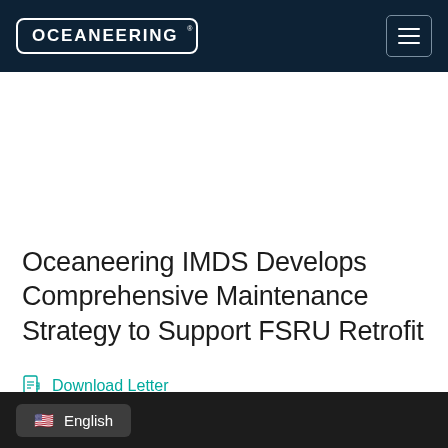OCEANEERING®
Oceaneering IMDS Develops Comprehensive Maintenance Strategy to Support FSRU Retrofit
Download Letter
English